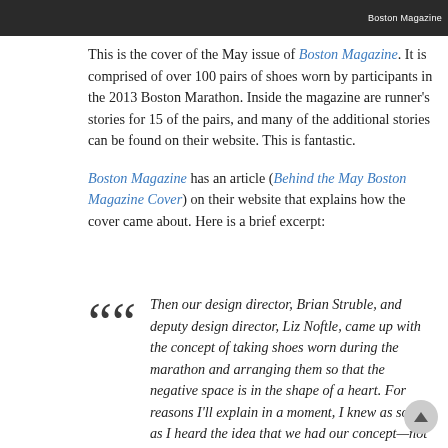[Figure (photo): Top portion of Boston Magazine cover showing shoes, with 'Boston Magazine' watermark on right side. Dark image strip at top of page.]
This is the cover of the May issue of Boston Magazine. It is comprised of over 100 pairs of shoes worn by participants in the 2013 Boston Marathon. Inside the magazine are runner's stories for 15 of the pairs, and many of the additional stories can be found on their website. This is fantastic.
Boston Magazine has an article (Behind the May Boston Magazine Cover) on their website that explains how the cover came about. Here is a brief excerpt:
Then our design director, Brian Struble, and deputy design director, Liz Noftle, came up with the concept of taking shoes worn during the marathon and arranging them so that the negative space is in the shape of a heart. For reasons I'll explain in a moment, I knew as soon as I heard the idea that we had our concept—not just for the collection of essays,